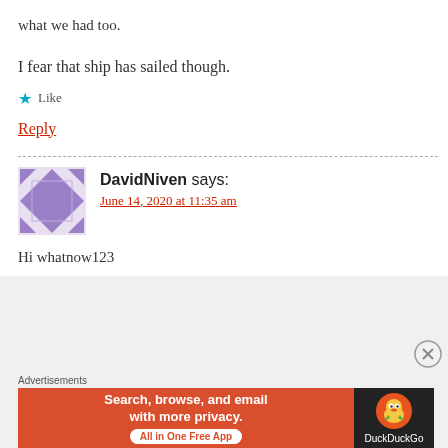what we had too.
I fear that ship has sailed though.
Like
Reply
DavidNiven says:
June 14, 2020 at 11:35 am
Hi whatnow123
Advertisements
[Figure (infographic): DuckDuckGo advertisement banner: orange left side with text 'Search, browse, and email with more privacy. All in One Free App' and dark right side with DuckDuckGo duck logo]